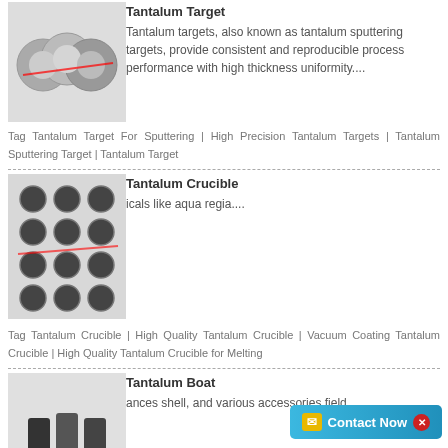[Figure (photo): Tantalum sputtering target discs, metallic, top view]
Tantalum Target
Tantalum targets, also known as tantalum sputtering targets, provide consistent and reproducible process performance with high thickness uniformity....
Tag Tantalum Target For Sputtering | High Precision Tantalum Targets | Tantalum Sputtering Target | Tantalum Target
[Figure (photo): Tantalum crucibles, small cylindrical cups arranged in a grid]
Tantalum Crucible
icals like aqua regia....
Tag Tantalum Crucible | High Quality Tantalum Crucible | Vacuum Coating Tantalum Crucible | High Quality Tantalum Crucible for Melting
[Figure (photo): Tantalum boat, rectangular metallic bars/boats for evaporation]
Tantalum Boat
ances shell, and various accessories field....
Tag Tantalum Boat | Tantalum Evaporation Boat | High Purity Tantalum Evaporation Boat | Industry Using Tantalum Boat